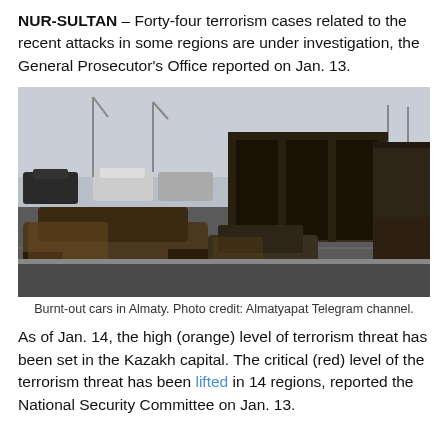NUR-SULTAN – Forty-four terrorism cases related to the recent attacks in some regions are under investigation, the General Prosecutor's Office reported on Jan. 13.
[Figure (photo): Burnt-out cars and a gutted bus frame in a parking area in Almaty, Kazakhstan, following unrest. Multiple charred vehicle shells are visible on asphalt, with street lights and traffic in the background.]
Burnt-out cars in Almaty. Photo credit: Almatyapat Telegram channel.
As of Jan. 14, the high (orange) level of terrorism threat has been set in the Kazakh capital. The critical (red) level of the terrorism threat has been lifted in 14 regions, reported the National Security Committee on Jan. 13.